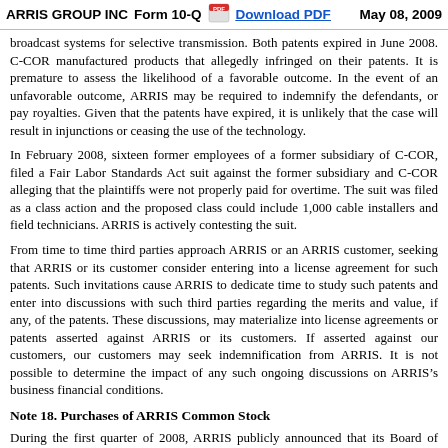ARRIS GROUP INC   Form 10-Q   Download PDF   May 08, 2009
broadcast systems for selective transmission. Both patents expired in June 2008. C-COR manufactured products that allegedly infringed on their patents. It is premature to assess the likelihood of a favorable outcome. In the event of an unfavorable outcome, ARRIS may be required to indemnify the defendants, or pay royalties. Given that the patents have expired, it is unlikely that the case will result in injunctions or ceasing the use of the technology.
In February 2008, sixteen former employees of a former subsidiary of C-COR, filed a Fair Labor Standards Act suit against the former subsidiary and C-COR alleging that the plaintiffs were not properly paid for overtime. The suit was filed as a class action and the proposed class could include 1,000 cable installers and field technicians. ARRIS is actively contesting the suit.
From time to time third parties approach ARRIS or an ARRIS customer, seeking that ARRIS or its customer consider entering into a license agreement for such patents. Such invitations cause ARRIS to dedicate time to study such patents and enter into discussions with such third parties regarding the merits and value, if any, of the patents. These discussions, may materialize into license agreements or patents asserted against ARRIS or its customers. If asserted against our customers, our customers may seek indemnification from ARRIS. It is not possible to determine the impact of any such ongoing discussions on ARRIS’s business financial conditions.
Note 18. Purchases of ARRIS Common Stock
During the first quarter of 2008, ARRIS publicly announced that its Board of Directors had authorized a plan (the “2008 Plan”) for the Company to purchase up to $100 million of the Company’s common stock. ARRIS repurchased